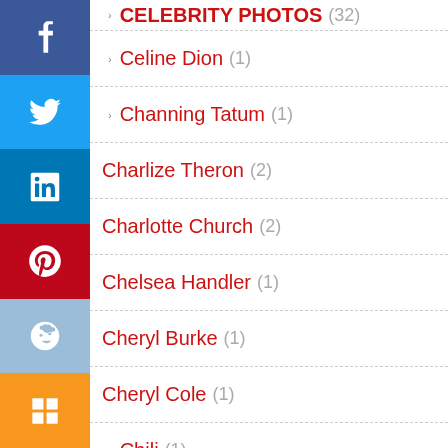CELEBRITY PHOTOS (32)
Celine Dion (1)
Channing Tatum (1)
Charlize Theron (2)
Charlotte Church (2)
Chelsea Handler (1)
Cheryl Burke (1)
Cheryl Cole (1)
Chili (1)